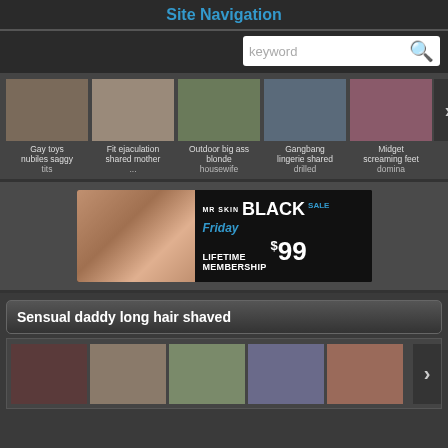Site Navigation
keyword (search box)
[Figure (screenshot): Horizontal scrollable carousel of video thumbnails with labels: Gay toys nubiles saggy tits, Fit ejaculation shared mother, Outdoor big ass blonde housewife, Gangbang lingerie shared drilled, Midget screaming feet domina]
[Figure (photo): MR SKIN Black Friday Sale advertisement: Lifetime Membership $99]
Sensual daddy long hair shaved
[Figure (screenshot): Bottom carousel of video thumbnails, 5 visible with a right arrow]